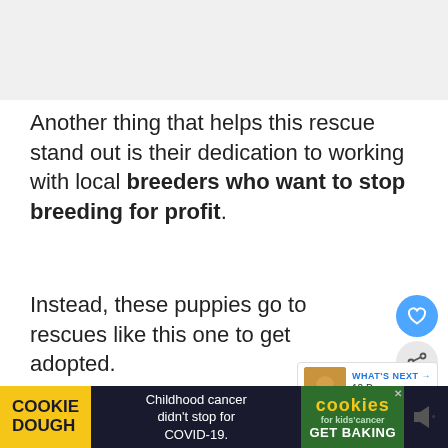[Figure (photo): Light gray placeholder image area at the top of the page]
Another thing that helps this rescue stand out is their dedication to working with local breeders who want to stop breeding for profit.
Instead, these puppies go to rescues like this one to get adopted.
Take a look at their adoption
[Figure (other): UI overlay with heart/like button and share button icons, and a 'WHAT'S NEXT' card showing '12 Dog Rescues In...']
[Figure (other): Advertisement banner: COOKIE DOUGH / Childhood cancer didn't stop for COVID-19. / cookies for kids cancer / GET BAKING]